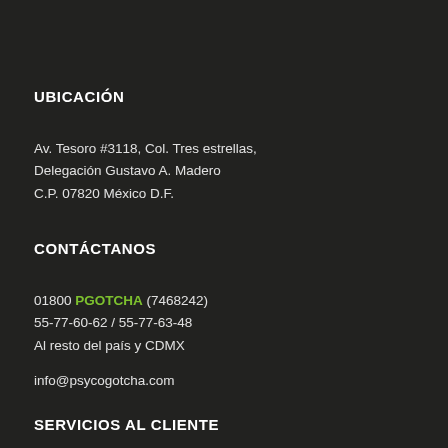UBICACIÓN
Av. Tesoro #3118, Col. Tres estrellas,
Delegación Gustavo A. Madero
C.P. 07820 México D.F.
CONTÁCTANOS
01800 PGOTCHA (7468242)
55-77-60-62 / 55-77-63-48
Al resto del país y CDMX
info@psycogotcha.com
SERVICIOS AL CLIENTE